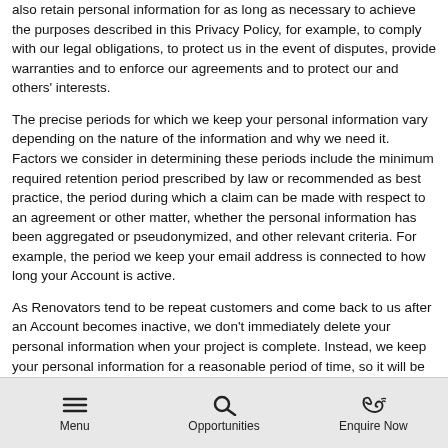also retain personal information for as long as necessary to achieve the purposes described in this Privacy Policy, for example, to comply with our legal obligations, to protect us in the event of disputes, provide warranties and to enforce our agreements and to protect our and others' interests.
The precise periods for which we keep your personal information vary depending on the nature of the information and why we need it. Factors we consider in determining these periods include the minimum required retention period prescribed by law or recommended as best practice, the period during which a claim can be made with respect to an agreement or other matter, whether the personal information has been aggregated or pseudonymized, and other relevant criteria. For example, the period we keep your email address is connected to how long your Account is active.
As Renovators tend to be repeat customers and come back to us after an Account becomes inactive, we don't immediately delete your personal information when your project is complete. Instead, we keep your personal information for a reasonable period of time, so it will be there for you if you come back.
Menu | Opportunities | Enquire Now